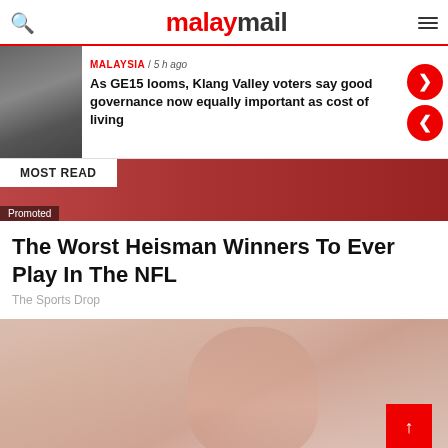malaymail
MALAYSIA / 5 h ago
As GE15 looms, Klang Valley voters say good governance now equally important as cost of living
MOST READ
Promoted
The Worst Heisman Winners To Ever Play In The NFL
The Sports Drop
[Figure (photo): Promotional image showing a person in outdoor setting with foliage background]